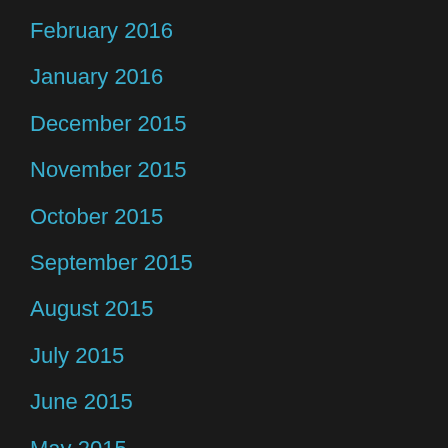February 2016
January 2016
December 2015
November 2015
October 2015
September 2015
August 2015
July 2015
June 2015
May 2015
April 2015
March 2015
February 2015